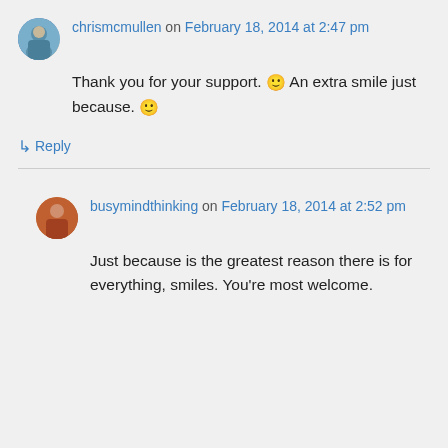chrismcmullen on February 18, 2014 at 2:47 pm
Thank you for your support. 🙂 An extra smile just because. 🙂
↳ Reply
busymindthinking on February 18, 2014 at 2:52 pm
Just because is the greatest reason there is for everything, smiles. You're most welcome.